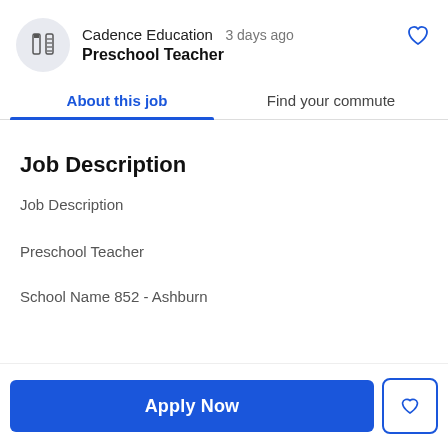Cadence Education · 3 days ago · Preschool Teacher
About this job
Find your commute
Job Description
Job Description
Preschool Teacher
School Name 852 - Ashburn
Apply Now